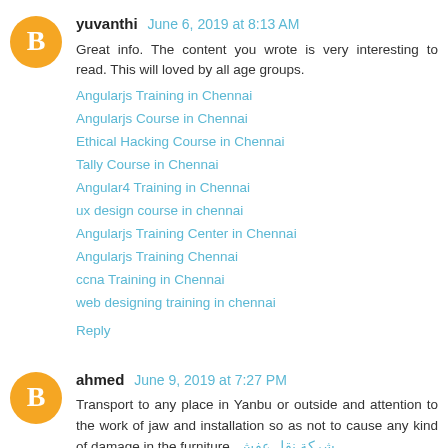yuvanthi  June 6, 2019 at 8:13 AM
Great info. The content you wrote is very interesting to read. This will loved by all age groups.
Angularjs Training in Chennai
Angularjs Course in Chennai
Ethical Hacking Course in Chennai
Tally Course in Chennai
Angular4 Training in Chennai
ux design course in chennai
Angularjs Training Center in Chennai
Angularjs Training Chennai
ccna Training in Chennai
web designing training in chennai
Reply
ahmed  June 9, 2019 at 7:27 PM
Transport to any place in Yanbu or outside and attention to the work of jaw and installation so as not to cause any kind of damage in the furniture, شركة نقل عفش